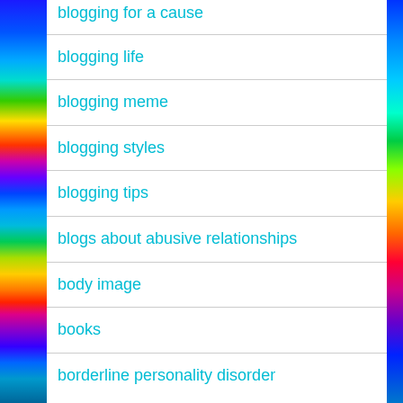blogging for a cause
blogging life
blogging meme
blogging styles
blogging tips
blogs about abusive relationships
body image
books
borderline personality disorder